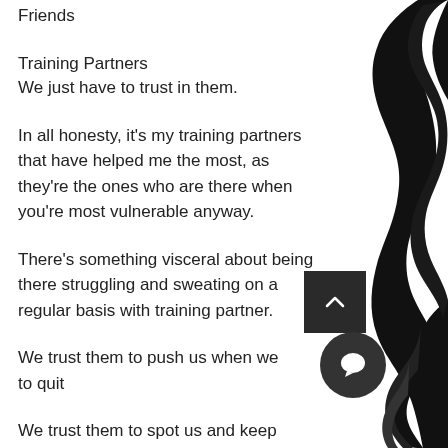Friends
Training Partners
We just have to trust in them.
In all honesty, it's my training partners that have helped me the most, as they're the ones who are there when you're most vulnerable anyway.
There's something visceral about being there struggling and sweating on a regular basis with training partner.
We trust them to push us when we to quit
We trust them to spot us and keep safe when the weight is heavy
[Figure (illustration): Black silhouette decorative illustration of a flowing figure on the right side of the page]